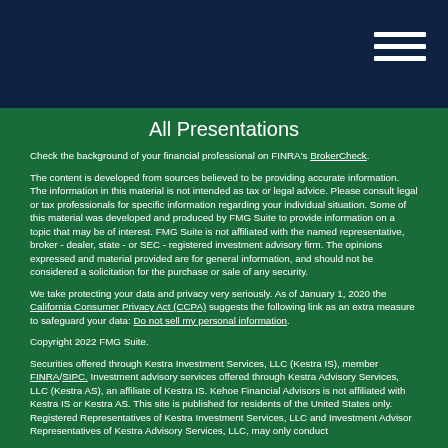All Presentations
Check the background of your financial professional on FINRA's BrokerCheck.
The content is developed from sources believed to be providing accurate information. The information in this material is not intended as tax or legal advice. Please consult legal or tax professionals for specific information regarding your individual situation. Some of this material was developed and produced by FMG Suite to provide information on a topic that may be of interest. FMG Suite is not affiliated with the named representative, broker - dealer, state - or SEC - registered investment advisory firm. The opinions expressed and material provided are for general information, and should not be considered a solicitation for the purchase or sale of any security.
We take protecting your data and privacy very seriously. As of January 1, 2020 the California Consumer Privacy Act (CCPA) suggests the following link as an extra measure to safeguard your data: Do not sell my personal information.
Copyright 2022 FMG Suite.
Securities offered through Kestra Investment Services, LLC (Kestra IS), member FINRA/SIPC. Investment advisory services offered through Kestra Advisory Services, LLC (Kestra AS), an affiliate of Kestra IS. Kehoe Financial Advisors is not affiliated with Kestra IS or Kestra AS. This site is published for residents of the United States only. Registered Representatives of Kestra Investment Services, LLC and Investment Advisor Representatives of Kestra Advisory Services, LLC, may only conduct